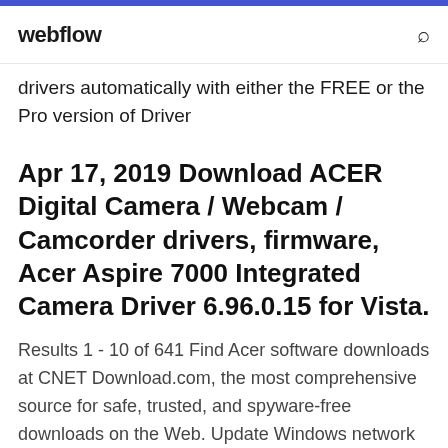webflow
drivers automatically with either the FREE or the Pro version of Driver
Apr 17, 2019 Download ACER Digital Camera / Webcam / Camcorder drivers, firmware, Acer Aspire 7000 Integrated Camera Driver 6.96.0.15 for Vista.
Results 1 - 10 of 641 Find Acer software downloads at CNET Download.com, the most comprehensive source for safe, trusted, and spyware-free downloads on the Web. Update Windows network adapter drivers for your Acer